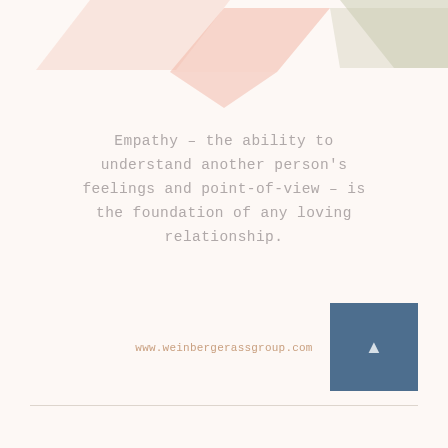[Figure (illustration): Decorative chevron/heart shapes in soft pink and sage green at the top of the page]
Empathy – the ability to understand another person's feelings and point-of-view – is the foundation of any loving relationship.
www.weinbergerassgroup.com
[Figure (other): Blue square button with upward arrow in bottom right corner]